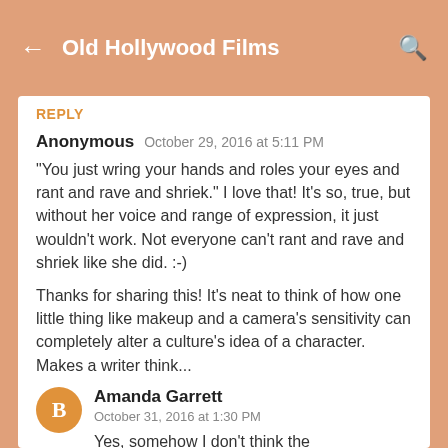Old Hollywood Films
REPLY
Anonymous   October 29, 2016 at 5:11 PM
"You just wring your hands and roles your eyes and rant and rave and shriek." I love that! It's so, true, but without her voice and range of expression, it just wouldn't work. Not everyone can't rant and rave and shriek like she did. :-)
Thanks for sharing this! It's neat to think of how one little thing like makeup and a camera's sensitivity can completely alter a culture's idea of a character. Makes a writer think...
Amanda Garrett   October 31, 2016 at 1:30 PM
Yes, somehow I don't think the